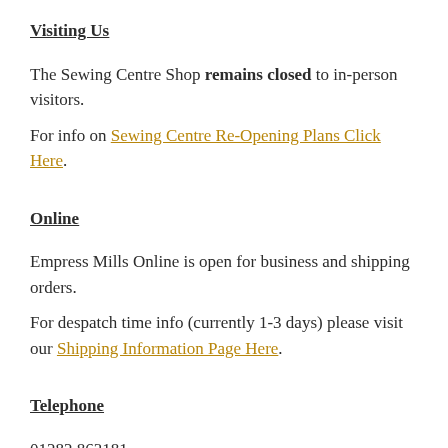Visiting Us
The Sewing Centre Shop remains closed to in-person visitors.
For info on Sewing Centre Re-Opening Plans Click Here.
Online
Empress Mills Online is open for business and shipping orders.
For despatch time info (currently 1-3 days) please visit our Shipping Information Page Here.
Telephone
01282 863181
Our lines are open: